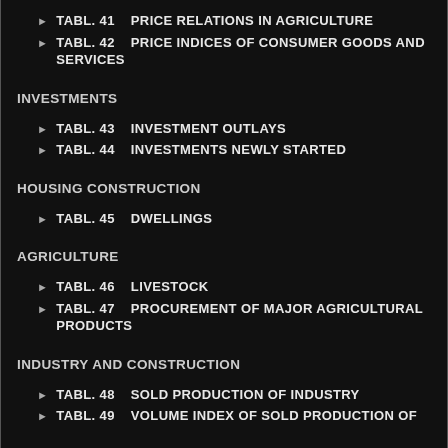TABL. 41    PRICE RELATIONS IN AGRICULTURE
TABL. 42    PRICE INDICES OF CONSUMER GOODS AND SERVICES
INVESTMENTS
TABL. 43    INVESTMENT OUTLAYS
TABL. 44    INVESTMENTS NEWLY STARTED
HOUSING CONSTRUCTION
TABL. 45    DWELLINGS
AGRICULTURE
TABL. 46    LIVESTOCK
TABL. 47    PROCUREMENT OF MAJOR AGRICULTURAL PRODUCTS
INDUSTRY AND CONSTRUCTION
TABL. 48    SOLD PRODUCTION OF INDUSTRY
TABL. 49    VOLUME INDEX OF SOLD PRODUCTION OF